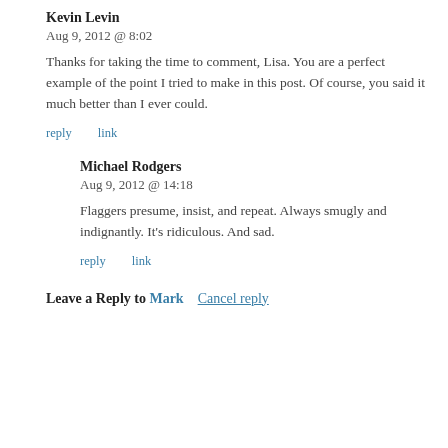Kevin Levin
Aug 9, 2012 @ 8:02
Thanks for taking the time to comment, Lisa. You are a perfect example of the point I tried to make in this post. Of course, you said it much better than I ever could.
reply   link
Michael Rodgers
Aug 9, 2012 @ 14:18
Flaggers presume, insist, and repeat. Always smugly and indignantly. It’s ridiculous. And sad.
reply   link
Leave a Reply to Mark   Cancel reply